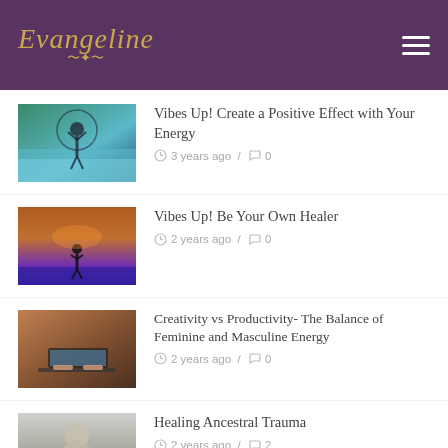Evangeline
[Figure (photo): Person standing at infinity pool with arms raised overhead, nature/forest background]
Vibes Up! Create a Positive Effect with Your Energy
3 years ago / 0
[Figure (photo): Silhouette of person standing on beach at dramatic sunset with purple and orange sky]
Vibes Up! Be Your Own Healer
2 years ago / 0
[Figure (photo): Hands near laptop keyboard on wooden table, warm lighting]
Creativity vs Productivity- The Balance of Feminine and Masculine Energy
2 years ago / 0
[Figure (photo): Vintage black and white photo of baby]
Healing Ancestral Trauma
2 years ago / 2